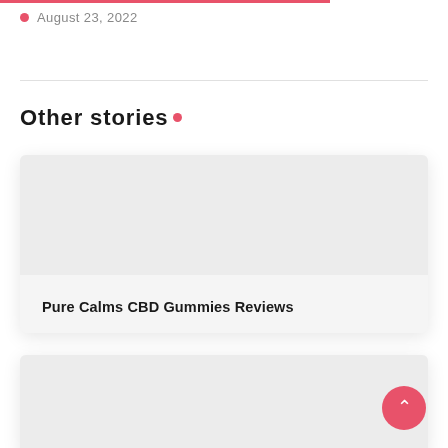August 23, 2022
Other stories .
[Figure (other): Card with grey image placeholder area and title 'Pure Calms CBD Gummies Reviews']
Pure Calms CBD Gummies Reviews
[Figure (other): Second card with grey image placeholder area, partially visible at bottom of page]